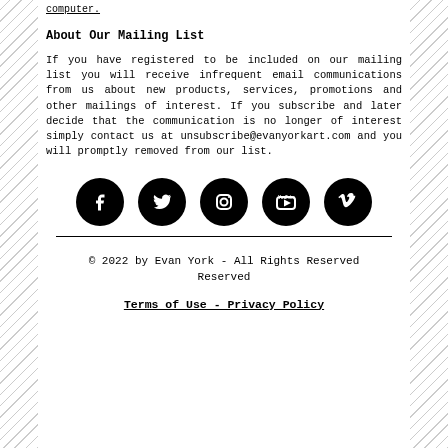computer.
About Our Mailing List
If you have registered to be included on our mailing list you will receive infrequent email communications from us about new products, services, promotions and other mailings of interest. If you subscribe and later decide that the communication is no longer of interest simply contact us at unsubscribe@evanyorkart.com and you will promptly removed from our list.
[Figure (illustration): Five social media icon circles (Facebook, Twitter, Instagram, YouTube, Vimeo) in black on white background]
© 2022 by Evan York - All Rights Reserved
Terms of Use - Privacy Policy